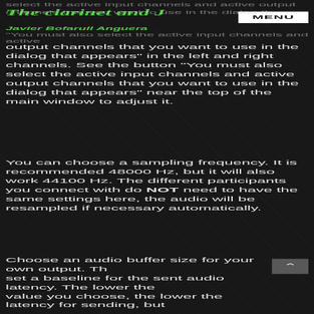select the active input channels and active output
The clarinet and J
channels that you want to use in the dialog that
Javier Bofarull Anguera
You must also select the active input channels and active
output channels that you want to use in the dialog that appears” in the left and right channels. See the button “You must also select the active input channels and active output channels that you want to use in the dialog that appears” near the top of the main window to adjust it.
You can choose a sampling frequency. It is recommended 48000 Hz, but it will also work 44100 Hz. The different participants you connect with do NOT need to have the same settings here, the audio will be resampled if necessary automatically.
Choose an audio buffer size for your own output. Th set a baseline for the sent audio latency. The lower the value you choose, the lower the latency for sending, but